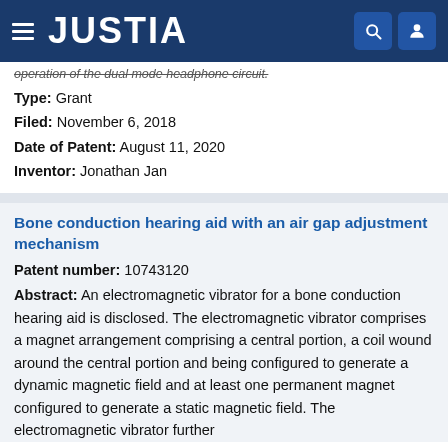JUSTIA
operation of the dual mode headphone circuit.
Type: Grant
Filed: November 6, 2018
Date of Patent: August 11, 2020
Inventor: Jonathan Jan
Bone conduction hearing aid with an air gap adjustment mechanism
Patent number: 10743120
Abstract: An electromagnetic vibrator for a bone conduction hearing aid is disclosed. The electromagnetic vibrator comprises a magnet arrangement comprising a central portion, a coil wound around the central portion and being configured to generate a dynamic magnetic field and at least one permanent magnet configured to generate a static magnetic field. The electromagnetic vibrator further